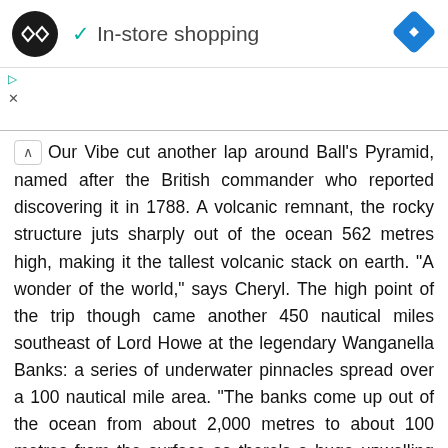[Figure (logo): Black circle logo with double arrow/infinity symbol in white, followed by a teal checkmark and 'In-store shopping' text, with a blue diamond navigation icon on the right]
Our Vibe cut another lap around Ball's Pyramid, named after the British commander who reported discovering it in 1788. A volcanic remnant, the rocky structure juts sharply out of the ocean 562 metres high, making it the tallest volcanic stack on earth. "A wonder of the world," says Cheryl. The high point of the trip though came another 450 nautical miles southeast of Lord Howe at the legendary Wanganella Banks: a series of underwater pinnacles spread over a 100 nautical mile area. "The banks come up out of the ocean from about 2,000 metres to about 100 metres from the surface so there's a huge upwelling of food and a great concentration of pelagic species. We landed three yellow-fin tuna, and busted off two monster ones," says Joe. More than just whizzing across the Tasman, the crew took 12 days to fish their way to NZ. Cheryl's baked lasagnes remained in the freezer on these days. "We didn't have any particularly bad weather but